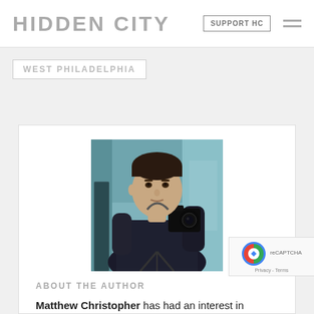HIDDEN CITY
SUPPORT HC
WEST PHILADELPHIA
[Figure (photo): Author photo: Matthew Christopher, a man in a dark jacket holding a camera with a tripod, standing in an abandoned building interior]
ABOUT THE AUTHOR
Matthew Christopher has had an interest in abandoned sites since he was a child, but started documenting them a